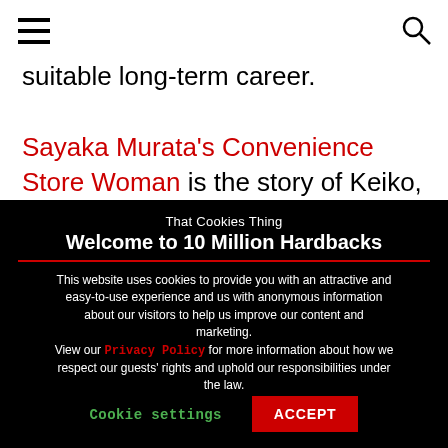≡  🔍
suitable long-term career.
Sayaka Murata's Convenience Store Woman is the story of Keiko, who has worked at a convenience
That Cookies Thing
Welcome to 10 Million Hardbacks
This website uses cookies to provide you with an attractive and easy-to-use experience and us with anonymous information about our visitors to help us improve our content and marketing.
View our Privacy Policy for more information about how we respect our guests' rights and uphold our responsibilities under the law.
Cookie settings   ACCEPT